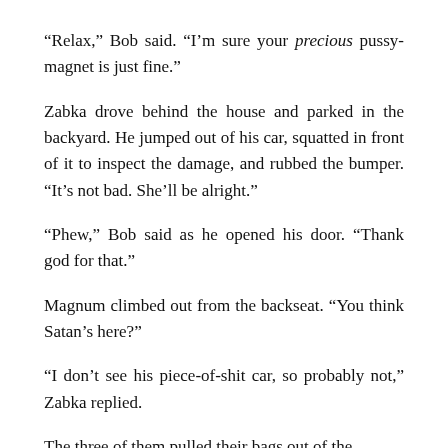“Relax,” Bob said. “I’m sure your precious pussy-magnet is just fine.”
Zabka drove behind the house and parked in the backyard. He jumped out of his car, squatted in front of it to inspect the damage, and rubbed the bumper. “It’s not bad. She’ll be alright.”
“Phew,” Bob said as he opened his door. “Thank god for that.”
Magnum climbed out from the backseat. “You think Satan’s here?”
“I don’t see his piece-of-shit car, so probably not,” Zabka replied.
The three of them pulled their bags out of the